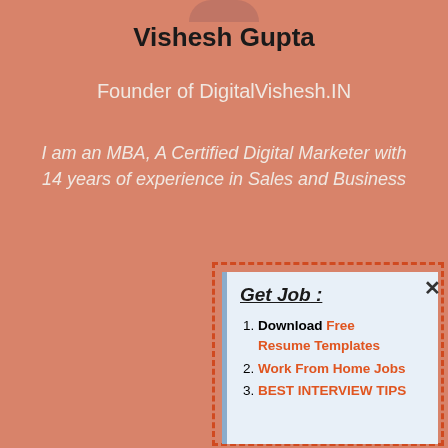Vishesh Gupta
Founder of DigitalVishesh.IN
I am an MBA, A Certified Digital Marketer with 14 years of experience in Sales and Business
[Figure (infographic): Screenshot of a website profile showing Vishesh Gupta's author bio with a popup overlay containing a 'Get Job' callout with three listed items: Download Free Resume Templates, Work From Home Jobs, BEST INTERVIEW TIPS]
Get Job :
Download Free Resume Templates
Work From Home Jobs
BEST INTERVIEW TIPS
I ar... Mark... Host... m... gene... my b...